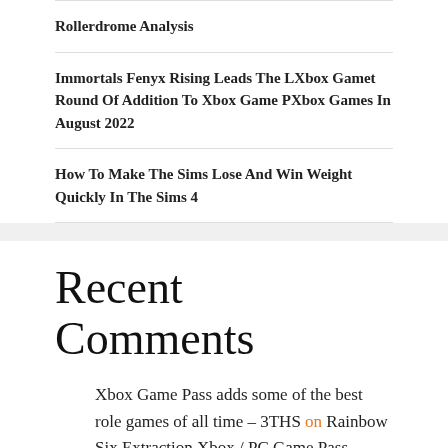Rollerdrome Analysis
Immortals Fenyx Rising Leads The LXbox Gamet Round Of Addition To Xbox Game PXbox Games In August 2022
How To Make The Sims Lose And Win Weight Quickly In The Sims 4
Recent Comments
Xbox Game Pass adds some of the best role games of all time – 3THS on Rainbow Six Extraction Xbox / PC Game Pass correspondence is decided from the release date on January 20! In addition, the PC version sid also added the same day